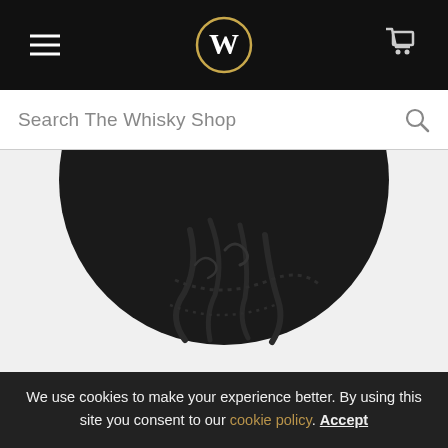The Whisky Shop — navigation bar with hamburger menu, logo W, and cart icon
Search The Whisky Shop
[Figure (photo): Close-up of a dark spherical bottle cap or bottle top with embossed tentacle/Kraken artwork on a dark background, partially cropped at top.]
Kraken Rum says that the blackness of its rum comes from the hue of the ink of the great sea monster, a Kraken. Don't expect to see this ink listed on the ingredients though.
We use cookies to make your experience better. By using this site you consent to our cookie policy. Accept